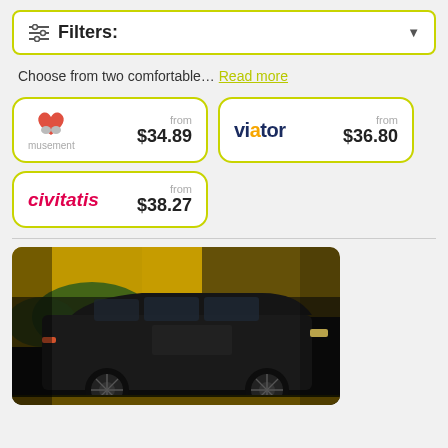Filters:
Choose from two comfortable... Read more
[Figure (screenshot): Musement provider card showing 'from $34.89']
[Figure (screenshot): Viator provider card showing 'from $36.80']
[Figure (screenshot): Civitatis provider card showing 'from $38.27']
[Figure (photo): Black luxury van/minivan parked on a street at night with yellow building in background]